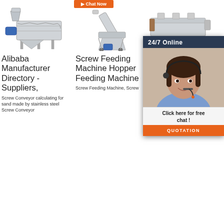[Figure (photo): Industrial screw conveyor / vibrating screen machine, stainless steel, with hopper]
[Figure (photo): Screw feeding machine with inclined auger and hopper on wheels]
[Figure (photo): Industrial feeding machine, partially obscured by chat widget]
Alibaba Manufacturer Directory - Suppliers,
Screw Feeding Machine Hopper Feeding Machine
Ch... Fe... Sc... Feeder Machine For P...
Screw Conveyor calculating for sand made by stainless steel Screw Conveyor
Screw Feeding Machine, Screw
Bucket elevator and various conveyors can
[Figure (screenshot): 24/7 Online chat widget with female customer service agent, 'Click here for free chat!' text and QUOTATION button]